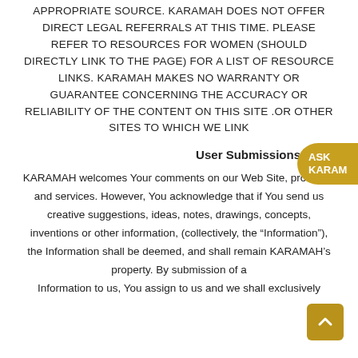APPROPRIATE SOURCE. KARAMAH DOES NOT OFFER DIRECT LEGAL REFERRALS AT THIS TIME. PLEASE REFER TO RESOURCES FOR WOMEN (SHOULD DIRECTLY LINK TO THE PAGE) FOR A LIST OF RESOURCE LINKS. KARAMAH MAKES NO WARRANTY OR GUARANTEE CONCERNING THE ACCURACY OR RELIABILITY OF THE CONTENT ON THIS SITE OR OTHER SITES TO WHICH WE LINK.
User Submissions
KARAMAH welcomes Your comments on our Web Site, products, and services. However, You acknowledge that if You send us creative suggestions, ideas, notes, drawings, concepts, inventions or other information, (collectively, the “Information”), the Information shall be deemed, and shall remain KARAMAH’s property. By submission of any Information to us, You assign to us and we shall exclusively